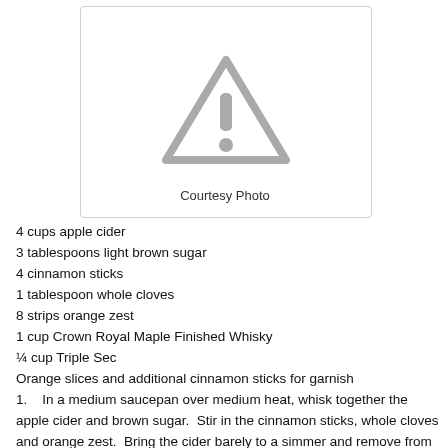[Figure (photo): Placeholder image with warning triangle icon and 'Courtesy Photo' caption]
Courtesy Photo
4 cups apple cider
3 tablespoons light brown sugar
4 cinnamon sticks
1 tablespoon whole cloves
8 strips orange zest
1 cup Crown Royal Maple Finished Whisky
¼ cup Triple Sec
Orange slices and additional cinnamon sticks for garnish
1.   In a medium saucepan over medium heat, whisk together the apple cider and brown sugar.  Stir in the cinnamon sticks, whole cloves and orange zest.  Bring the cider barely to a simmer and remove from the heat.  Stir in the Crown Royal Maple Finished Whisky and Triple Sec